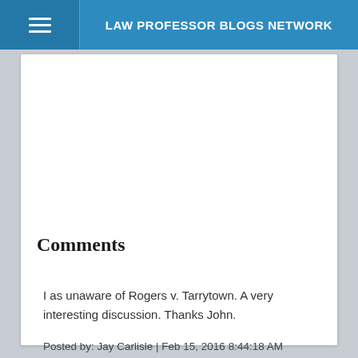LAW PROFESSOR BLOGS NETWORK
Comments
I as unaware of Rogers v. Tarrytown. A very interesting discussion. Thanks John.
Posted by: Jay Carlisle | Feb 15, 2016 8:44:18 AM